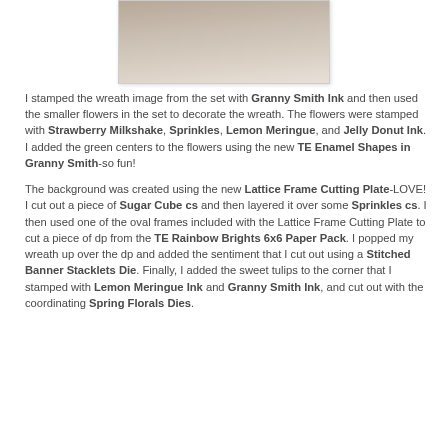[Figure (photo): Photo of a stamped card or craft project, partially visible at top of page]
I stamped the wreath image from the set with Granny Smith Ink and then used the smaller flowers in the set to decorate the wreath. The flowers were stamped with Strawberry Milkshake, Sprinkles, Lemon Meringue, and Jelly Donut Ink. I added the green centers to the flowers using the new TE Enamel Shapes in Granny Smith-so fun!

The background was created using the new Lattice Frame Cutting Plate-LOVE! I cut out a piece of Sugar Cube cs and then layered it over some Sprinkles cs. I then used one of the oval frames included with the Lattice Frame Cutting Plate to cut a piece of dp from the TE Rainbow Brights 6x6 Paper Pack. I popped my wreath up over the dp and added the sentiment that I cut out using a Stitched Banner Stacklets Die. Finally, I added the sweet tulips to the corner that I stamped with Lemon Meringue Ink and Granny Smith Ink, and cut out with the coordinating Spring Florals Dies.